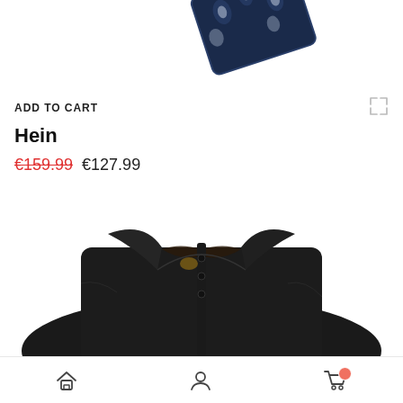[Figure (photo): Partial view of a navy blue floral patterned folded tie or pocket square, shown at the top of the page.]
ADD TO CART
Hein
€159.99 €127.99
[Figure (photo): A folded black dress shirt shown from the collar and shoulder area, displayed on a white background.]
Home | Account | Cart